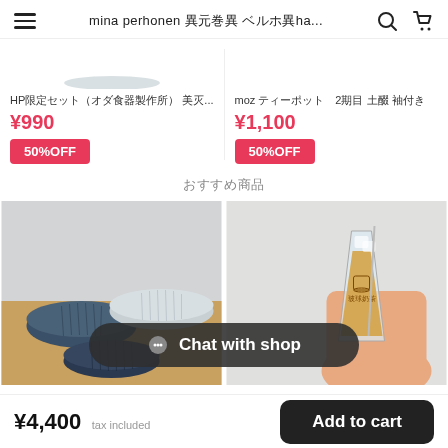mina perhonen ミナ ペルホネン ha...
HP限定セット（オダ食器製作所） 美濃...
¥990
50%OFF
moz ティーポット
2枚組 土鍋 蓋付き
¥1,100
50%OFF
おすすめ商品
[Figure (photo): Photo of three ceramic bowls (dark blue, light blue, dark blue patterned) on a wooden surface]
[Figure (photo): Photo of a hand holding a glass of iced tea/drink with a logo on it]
Chat with shop
¥4,400  tax included
Add to cart